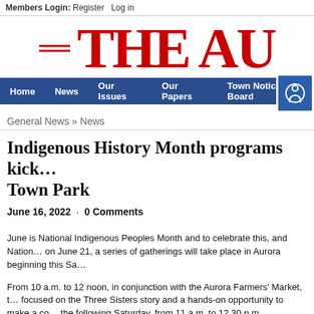Members Login: Register  Log in
THE AU
Home  News  Our Issues  Our Papers  Town Notice Board
General News » News
Indigenous History Month programs kick… Town Park
June 16, 2022  ·  0 Comments
June is National Indigenous Peoples Month and to celebrate this, and Natio… on June 21, a series of gatherings will take place in Aurora beginning this Sa…
From 10 a.m. to 12 noon, in conjunction with the Aurora Farmers' Market, t… focused on the Three Sisters story and a hands-on opportunity to make a co… the following Saturday, from 11 a.m. to 12.30 p.m., Traditional Anishinaabe… lead a Storytelling and Drumming gathering – including the chance to make … material.